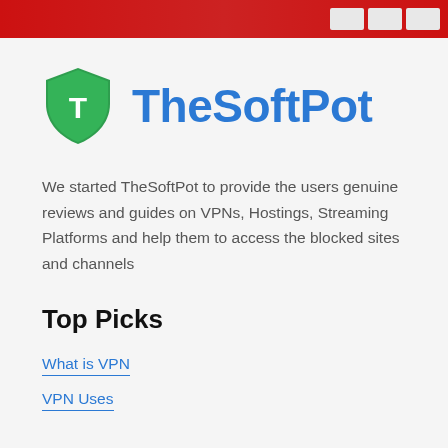[Figure (photo): Red banner/header image at the top of the page with some interface boxes on the right side]
[Figure (logo): TheSoftPot logo: green shield icon with white T letter, and blue bold text 'TheSoftPot']
We started TheSoftPot to provide the users genuine reviews and guides on VPNs, Hostings, Streaming Platforms and help them to access the blocked sites and channels
Top Picks
What is VPN
VPN Uses